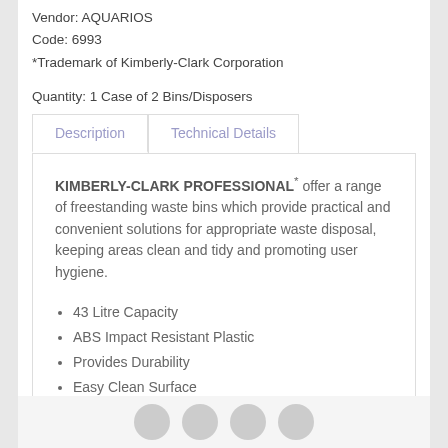Vendor: AQUARIOS
Code: 6993
*Trademark of Kimberly-Clark Corporation
Quantity: 1 Case of 2 Bins/Disposers
Description | Technical Details (tabs)
KIMBERLY-CLARK PROFESSIONAL* offer a range of freestanding waste bins which provide practical and convenient solutions for appropriate waste disposal, keeping areas clean and tidy and promoting user hygiene.
43 Litre Capacity
ABS Impact Resistant Plastic
Provides Durability
Easy Clean Surface